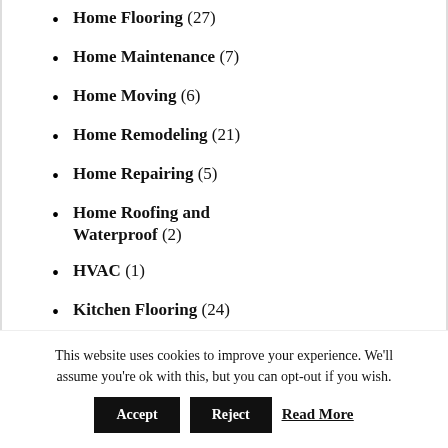Home Flooring (27)
Home Maintenance (7)
Home Moving (6)
Home Remodeling (21)
Home Repairing (5)
Home Roofing and Waterproof (2)
HVAC (1)
Kitchen Flooring (24)
Laminate Flooring (21)
This website uses cookies to improve your experience. We'll assume you're ok with this, but you can opt-out if you wish.
Accept | Reject | Read More